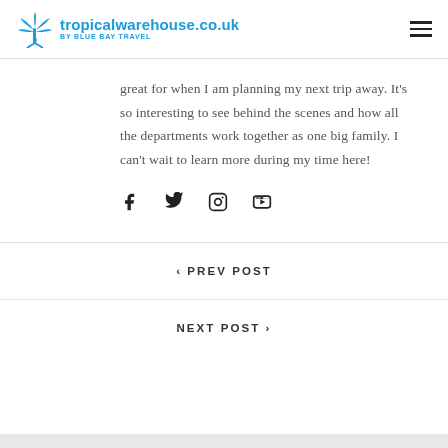tropicalwarehouse.co.uk BY BLUE BAY TRAVEL
great for when I am planning my next trip away. It’s so interesting to see behind the scenes and how all the departments work together as one big family. I can’t wait to learn more during my time here!
[Figure (infographic): Social media icons: Facebook, Twitter, Instagram, YouTube]
< PREV POST
NEXT POST >